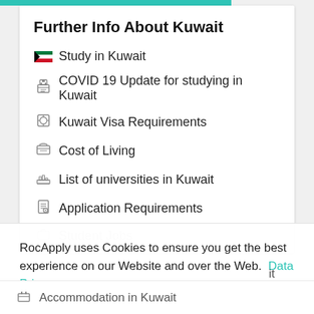Further Info About Kuwait
Study in Kuwait
COVID 19 Update for studying in Kuwait
Kuwait Visa Requirements
Cost of Living
List of universities in Kuwait
Application Requirements
Student Jobs
RocApply uses Cookies to ensure you get the best experience on our Website and over the Web.  Data Privacy
it
Got it!
Alright!
Accommodation in Kuwait